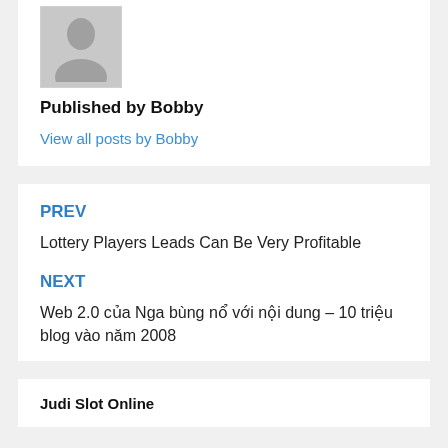[Figure (photo): Gray silhouette avatar placeholder image for user Bobby]
Published by Bobby
View all posts by Bobby
PREV
Lottery Players Leads Can Be Very Profitable
NEXT
Web 2.0 của Nga bùng nổ với nội dung – 10 triệu blog vào năm 2008
Judi Slot Online